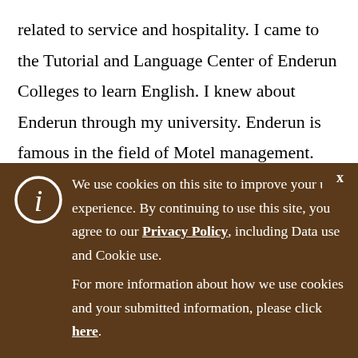related to service and hospitality. I came to the Tutorial and Language Center of Enderun Colleges to learn English. I knew about Enderun through my university. Enderun is famous in the field of Motel management. The Enderun campus is very beautiful and uniquely designed. Our class atmosphere is very conducive for learning. I love the
We use cookies on this site to improve your user experience. By continuing to use this site, you agree to our Privacy Policy, including Data use and Cookie use. For more information about how we use cookies and your submitted information, please click here.